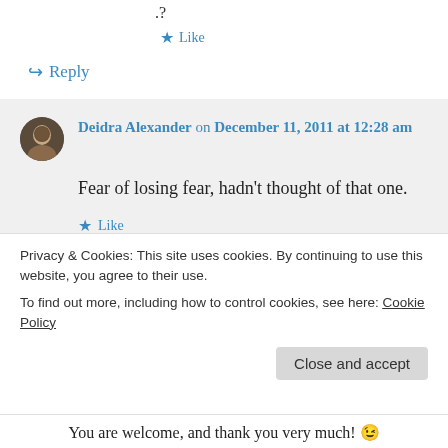.?
★ Like
↪ Reply
Deidra Alexander on December 11, 2011 at 12:28 am
Fear of losing fear, hadn't thought of that one.
★ Like
Privacy & Cookies: This site uses cookies. By continuing to use this website, you agree to their use.
To find out more, including how to control cookies, see here: Cookie Policy
Close and accept
You are welcome, and thank you very much! 😉